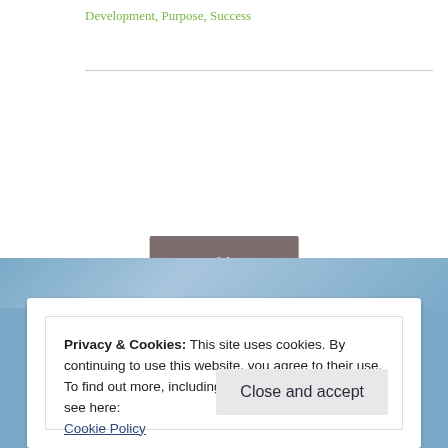Development, Purpose, Success
Older posts
Privacy & Cookies: This site uses cookies. By continuing to use this website, you agree to their use.
To find out more, including how to control cookies, see here: Cookie Policy
Close and accept